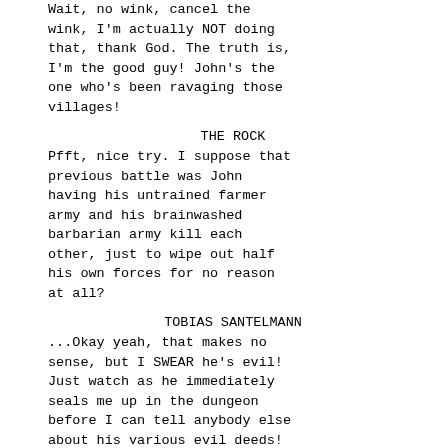Wait, no wink, cancel the wink, I'm actually NOT doing that, thank God. The truth is, I'm the good guy! John's the one who's been ravaging those villages!
THE ROCK
Pfft, nice try. I suppose that previous battle was John having his untrained farmer army and his brainwashed barbarian army kill each other, just to wipe out half his own forces for no reason at all?
TOBIAS SANTELMANN
...Okay yeah, that makes no sense, but I SWEAR he's evil! Just watch as he immediately seals me up in the dungeon before I can tell anybody else about his various evil deeds!
JOHN HURT
Hey, let's have a big banquet back in Thrace, and chain Tobias up out front of everybody where he can yell whatever he wants to whoever he wants!